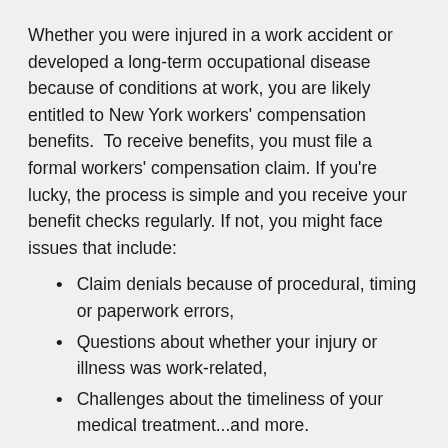Whether you were injured in a work accident or developed a long-term occupational disease because of conditions at work, you are likely entitled to New York workers' compensation benefits.  To receive benefits, you must file a formal workers' compensation claim. If you're lucky, the process is simple and you receive your benefit checks regularly. If not, you might face issues that include:
Claim denials because of procedural, timing or paperwork errors,
Questions about whether your injury or illness was work-related,
Challenges about the timeliness of your medical treatment...and more.